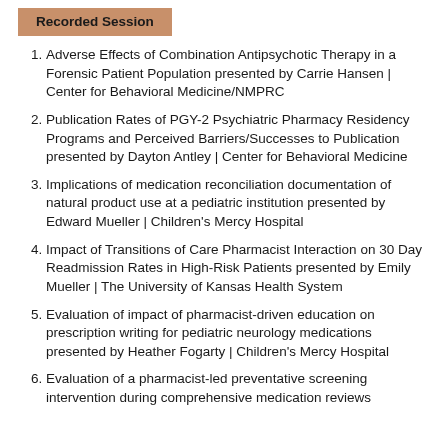Recorded Session
Adverse Effects of Combination Antipsychotic Therapy in a Forensic Patient Population presented by Carrie Hansen | Center for Behavioral Medicine/NMPRC
Publication Rates of PGY-2 Psychiatric Pharmacy Residency Programs and Perceived Barriers/Successes to Publication presented by Dayton Antley | Center for Behavioral Medicine
Implications of medication reconciliation documentation of natural product use at a pediatric institution presented by Edward Mueller | Children's Mercy Hospital
Impact of Transitions of Care Pharmacist Interaction on 30 Day Readmission Rates in High-Risk Patients presented by Emily Mueller | The University of Kansas Health System
Evaluation of impact of pharmacist-driven education on prescription writing for pediatric neurology medications presented by Heather Fogarty | Children's Mercy Hospital
Evaluation of a pharmacist-led preventative screening intervention during comprehensive medication reviews